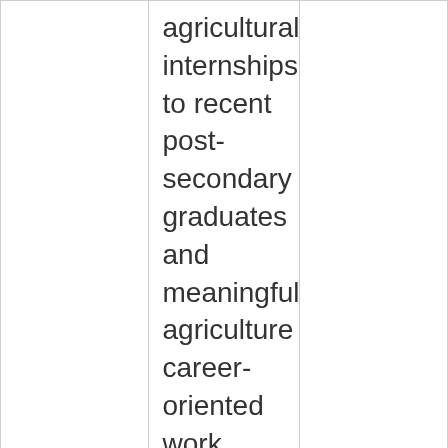|  | agricultural internships to recent post-secondary graduates and meaningful agriculture career-oriented work experience and skills acquisition through mentoring and coaching. |  |
|  |  |  |